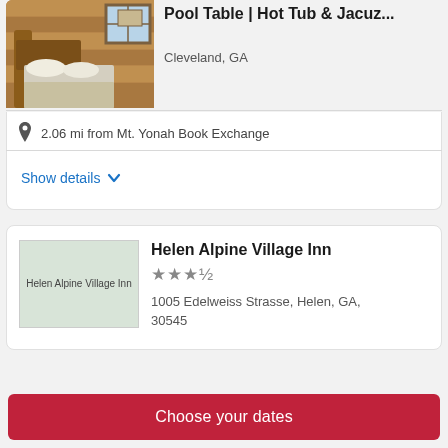[Figure (photo): Cabin bedroom interior with wood paneling, bed with white linens and pillows, and window]
Pool Table | Hot Tub & Jacuz...
Cleveland, GA
2.06 mi from Mt. Yonah Book Exchange
Show details
[Figure (photo): Helen Alpine Village Inn placeholder image]
Helen Alpine Village Inn
★★★½
1005 Edelweiss Strasse, Helen, GA, 30545
Choose your dates